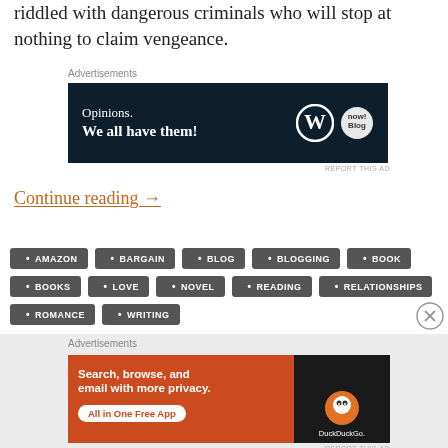riddled with dangerous criminals who will stop at nothing to claim vengeance.
[Figure (screenshot): Advertisement banner: dark navy background with text 'Opinions. We all have them!' and WordPress and blog-related logos on the right.]
Continue reading →
AMAZON
BARGAIN
BLOG
BLOGGING
BOOK
BOOKS
LOVE
NOVEL
READING
RELATIONSHIPS
ROMANCE
WRITING
[Figure (screenshot): Advertisement banner: orange background with text 'Search, browse, and email with more privacy. All in One Free App' and a DuckDuckGo phone mockup on the right.]